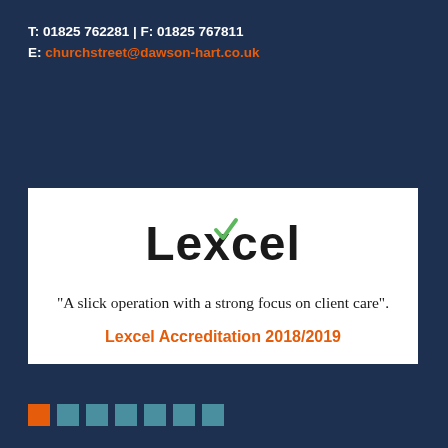T: 01825 762281 | F: 01825 767811
E: churchstreet@dawson-hart.co.uk
[Figure (logo): Lexcel accreditation logo box with text: Lexcel logo, quote 'A slick operation with a strong focus on client care'.', and 'Lexcel Accreditation 2018/2019' in orange]
[Figure (infographic): Row of colored square dots at bottom left: one orange square followed by six teal squares]